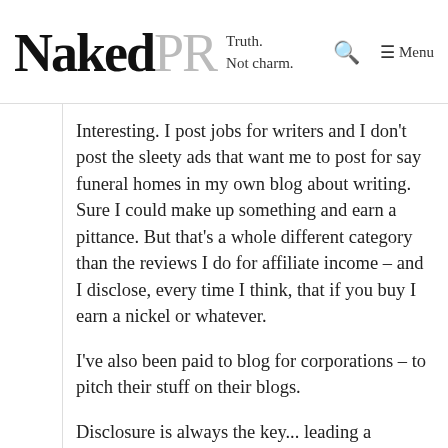NakedPR Truth. Not charm.
Interesting. I post jobs for writers and I don't post the sleety ads that want me to post for say funeral homes in my own blog about writing. Sure I could make up something and earn a pittance. But that's a whole different category than the reviews I do for affiliate income – and I disclose, every time I think, that if you buy I earn a nickel or whatever.
I've also been paid to blog for corporations – to pitch their stuff on their blogs.
Disclosure is always the key... leading a transparent life is so much easier than not.